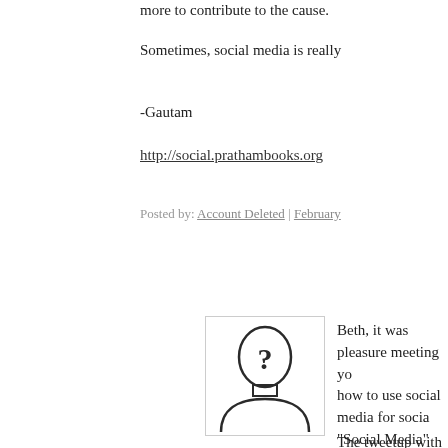more to contribute to the cause.
Sometimes, social media is really
-Gautam
http://social.prathambooks.org
Posted by: Account Deleted | February
[Figure (illustration): Avatar placeholder icon: silhouette of a human head with a question mark inside, black outline on white background]
Beth, it was pleasure meeting you how to use social media for socia. "Social Media" topic table.
The tweetup with you and @dms queries. Also I loved "how you u
It was wonderful learning from y to successfully transform themse.
I appreciate you for sharing your platforms.
Look forward to meet you again
Posted by: Account Deleted | February
[Figure (illustration): Another avatar placeholder icon, partially visible at bottom]
Dear Beth - It indeed was a pleas